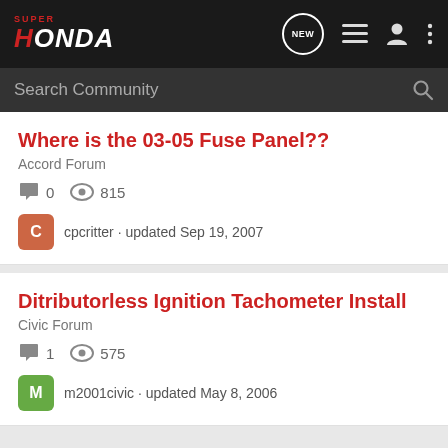SuperHonda forum navigation bar with logo, new posts, list, profile, and menu icons
Search Community
Where is the 03-05 Fuse Panel??
Accord Forum
0 comments · 815 views
cpcritter · updated Sep 19, 2007
Ditributorless Ignition Tachometer Install
Civic Forum
1 comment · 575 views
m2001civic · updated May 8, 2006